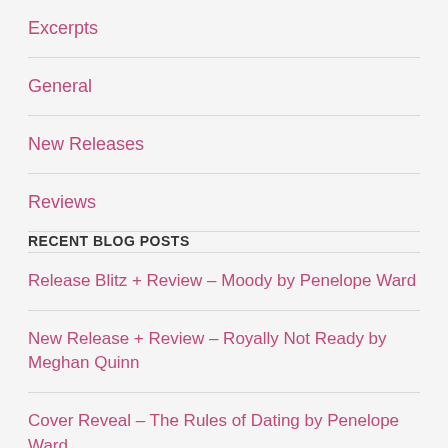Excerpts
General
New Releases
Reviews
RECENT BLOG POSTS
Release Blitz + Review – Moody by Penelope Ward
New Release + Review – Royally Not Ready by Meghan Quinn
Cover Reveal – The Rules of Dating by Penelope Ward